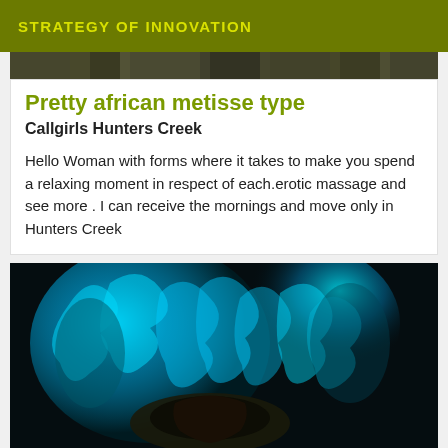STRATEGY OF INNOVATION
[Figure (photo): Dark textured image strip at top of card area]
Pretty african metisse type
Callgirls Hunters Creek
Hello Woman with forms where it takes to make you spend a relaxing moment in respect of each.erotic massage and see more . I can receive the mornings and move only in Hunters Creek
[Figure (photo): Blue flame or bioluminescent light effect with dark figure silhouette, predominantly cyan/blue tones on black background]